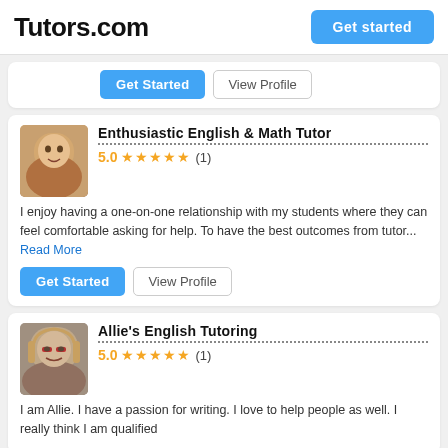Tutors.com
Get Started | View Profile (partial card top buttons)
Enthusiastic English & Math Tutor
5.0 ★★★★★ (1)
I enjoy having a one-on-one relationship with my students where they can feel comfortable asking for help.  To have the best outcomes from tutor... Read More
Get Started | View Profile
Allie's English Tutoring
5.0 ★★★★★ (1)
I am Allie. I have a passion for writing. I love to help people as well. I really think I am qualified